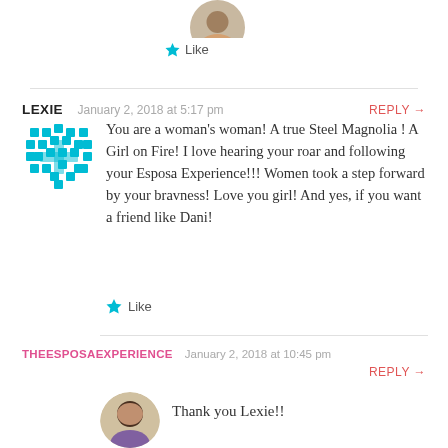[Figure (photo): Partial avatar image at the top, cropped circle]
Like
LEXIE   January 2, 2018 at 5:17 pm   REPLY →
[Figure (illustration): Teal/cyan mosaic cross or plus-sign pattern avatar for Lexie]
You are a woman's woman! A true Steel Magnolia ! A Girl on Fire! I love hearing your roar and following your Esposa Experience!!! Women took a step forward by your bravness! Love you girl! And yes, if you want a friend like Dani!
Like
THEESPOSAEXPERIENCE   January 2, 2018 at 10:45 pm   REPLY →
[Figure (photo): Dark-haired woman avatar photo, partial view at bottom]
Thank you Lexie!!